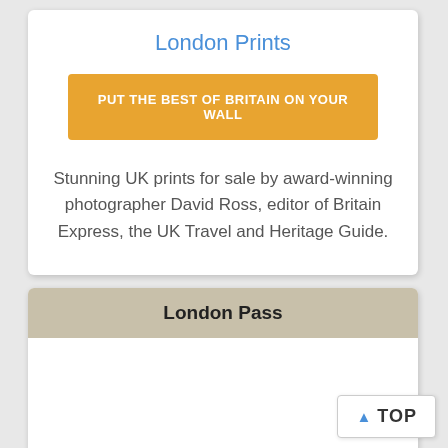London Prints
PUT THE BEST OF BRITAIN ON YOUR WALL
Stunning UK prints for sale by award-winning photographer David Ross, editor of Britain Express, the UK Travel and Heritage Guide.
London Pass
TOP